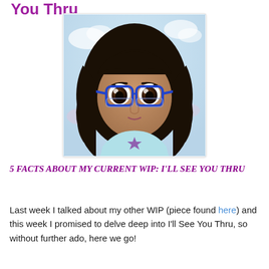You Thru
[Figure (illustration): Cartoon/anime-style illustration of a girl with long curly black hair, large expressive brown eyes, blue-framed glasses, and a light blue shirt with a purple star, against a soft blue and purple cloudy background]
5 FACTS ABOUT MY CURRENT WIP: I'LL SEE YOU THRU
Last week I talked about my other WIP (piece found here) and this week I promised to delve deep into I'll See You Thru, so without further ado, here we go!